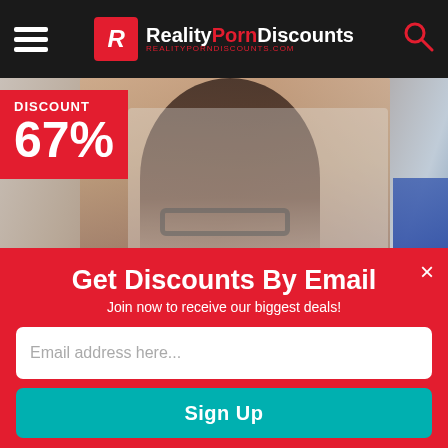Reality Porn Discounts - REALITYPORNDISCOUNTS.COM
[Figure (photo): Banner photo of a young woman with glasses looking at the camera, with a blurred calendar/whiteboard background and blue clothing visible on the right. A red discount badge in the top-left corner reads DISCOUNT 67%.]
Get Discounts By Email
Join now to receive our biggest deals!
Email address here...
Sign Up